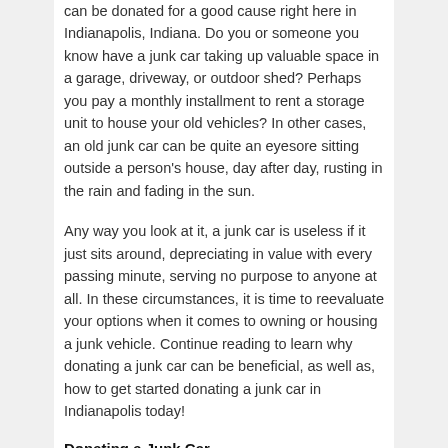can be donated for a good cause right here in Indianapolis, Indiana. Do you or someone you know have a junk car taking up valuable space in a garage, driveway, or outdoor shed? Perhaps you pay a monthly installment to rent a storage unit to house your old vehicles? In other cases, an old junk car can be quite an eyesore sitting outside a person's house, day after day, rusting in the rain and fading in the sun.
Any way you look at it, a junk car is useless if it just sits around, depreciating in value with every passing minute, serving no purpose to anyone at all. In these circumstances, it is time to reevaluate your options when it comes to owning or housing a junk vehicle. Continue reading to learn why donating a junk car can be beneficial, as well as, how to get started donating a junk car in Indianapolis today!
Donating a Junk Car
The first place to start is determining the current status of the vehicle and implementing a brief analysis of its overall